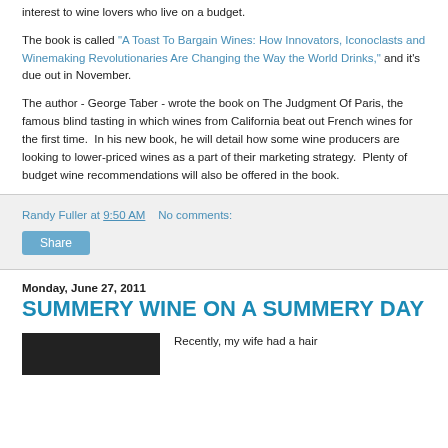interest to wine lovers who live on a budget.
The book is called "A Toast To Bargain Wines: How Innovators, Iconoclasts and Winemaking Revolutionaries Are Changing the Way the World Drinks," and it's due out in November.
The author - George Taber - wrote the book on The Judgment Of Paris, the famous blind tasting in which wines from California beat out French wines for the first time.  In his new book, he will detail how some wine producers are looking to lower-priced wines as a part of their marketing strategy.  Plenty of budget wine recommendations will also be offered in the book.
Randy Fuller at 9:50 AM   No comments:
Share
Monday, June 27, 2011
SUMMERY WINE ON A SUMMERY DAY
Recently, my wife had a hair